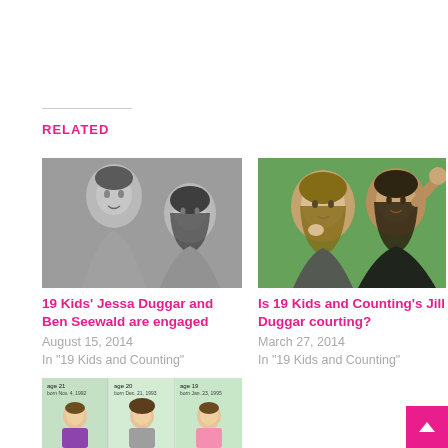RELATED
[Figure (photo): Black and white photo of a young man and woman (couple) posed together outdoors]
19 Kids' Jessa Duggar and Ben Seewald are engaged
August 15, 2014
In "19 Kids and Counting"
[Figure (photo): Color photo of two young women smiling together outdoors]
Is 19 Kids and Counting's Jill Duggar courting?
March 27, 2014
In "19 Kids and Counting"
[Figure (photo): Color photo showing three people with age/birth info labels above them]